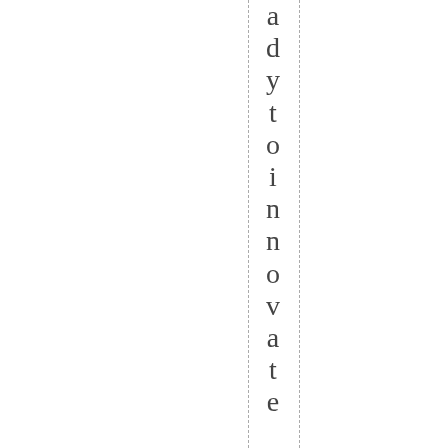ady to innovate, Research, Th...